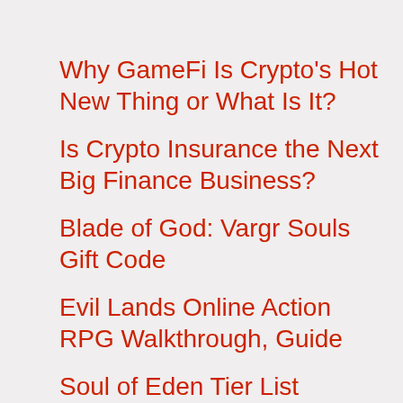Why GameFi Is Crypto's Hot New Thing or What Is It?
Is Crypto Insurance the Next Big Finance Business?
Blade of God: Vargr Souls Gift Code
Evil Lands Online Action RPG Walkthrough, Guide
Soul of Eden Tier List
Guardian Tales Tier List and Reroll Guide
Pokémon Scarlet and Violet Trailer: New